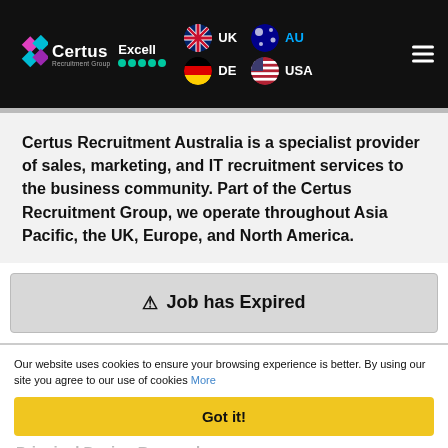Certus Excell | UK | DE | AU | USA
Certus Recruitment Australia is a specialist provider of sales, marketing, and IT recruitment services to the business community. Part of the Certus Recruitment Group, we operate throughout Asia Pacific, the UK, Europe, and North America.
⚠ Job has Expired
Our website uses cookies to ensure your browsing experience is better. By using our site you agree to our use of cookies More
Got it!
Principal Design Researcher